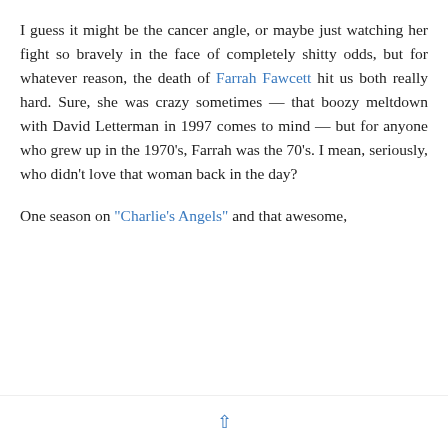I guess it might be the cancer angle, or maybe just watching her fight so bravely in the face of completely shitty odds, but for whatever reason, the death of Farrah Fawcett hit us both really hard. Sure, she was crazy sometimes — that boozy meltdown with David Letterman in 1997 comes to mind — but for anyone who grew up in the 1970's, Farrah was the 70's. I mean, seriously, who didn't love that woman back in the day?
One season on "Charlie's Angels" and that awesome,
Privacy & Cookies: This site uses cookies. By continuing to use this website, you agree to their use.
To find out more, including how to control cookies, see here: Cookie Policy